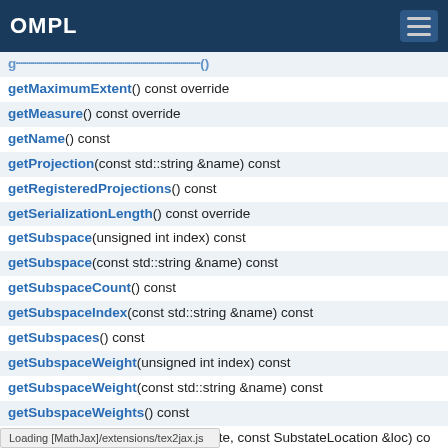OMPL
getMaximumExtent() const override
getMeasure() const override
getName() const
getProjection(const std::string &name) const
getRegisteredProjections() const
getSerializationLength() const override
getSubspace(unsigned int index) const
getSubspace(const std::string &name) const
getSubspaceCount() const
getSubspaceIndex(const std::string &name) const
getSubspaces() const
getSubspaceWeight(unsigned int index) const
getSubspaceWeight(const std::string &name) const
getSubspaceWeights() const
getSubstateAtLocation(State *state, const SubstateLocation &loc) co…
getSubstateAtLocation(const State *state, const SubstateLocation &…
getSubstateLocationsByName() const
getType() const
getValidSegmentCountFactor() const
…ate *state, unsigned int index) const over…
Loading [MathJax]/extensions/tex2jax.js